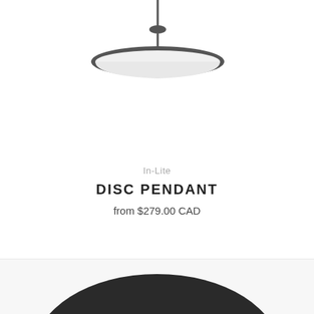[Figure (photo): Top view of an In-Lite Disc Pendant lamp, shown hanging from the ceiling. The lamp has a thin dark metallic rim and a white frosted disc, viewed from slightly below.]
In-Lite
DISC PENDANT
from $279.00 CAD
[Figure (photo): Partial view of a second pendant lamp, showing a large dark/black dome shade from above, cut off at the bottom of the page.]